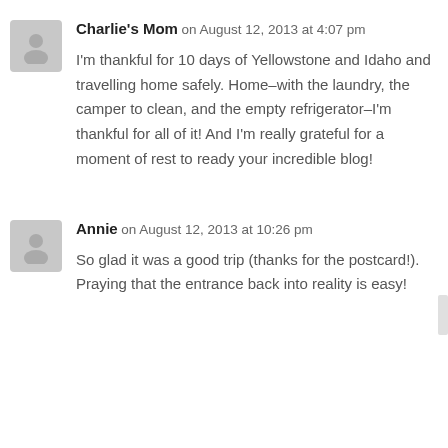Charlie's Mom on August 12, 2013 at 4:07 pm
I'm thankful for 10 days of Yellowstone and Idaho and travelling home safely. Home–with the laundry, the camper to clean, and the empty refrigerator–I'm thankful for all of it! And I'm really grateful for a moment of rest to ready your incredible blog!
Annie on August 12, 2013 at 10:26 pm
So glad it was a good trip (thanks for the postcard!). Praying that the entrance back into reality is easy!